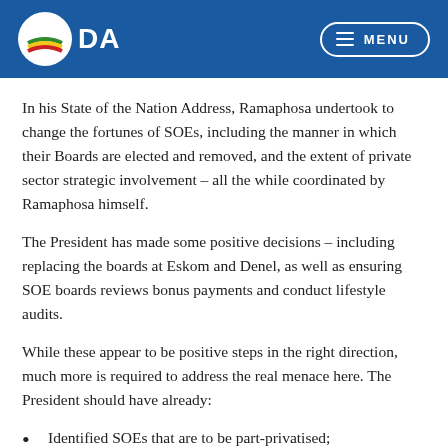DA MENU
In his State of the Nation Address, Ramaphosa undertook to change the fortunes of SOEs, including the manner in which their Boards are elected and removed, and the extent of private sector strategic involvement – all the while coordinated by Ramaphosa himself.
The President has made some positive decisions – including replacing the boards at Eskom and Denel, as well as ensuring SOE boards reviews bonus payments and conduct lifestyle audits.
While these appear to be positive steps in the right direction, much more is required to address the real menace here. The President should have already:
Identified SOEs that are to be part-privatised;
Begun the process of splitting Eskom into a generation entity and transmission entity, with the generation entity privatised, and the transmission entity state-owned;